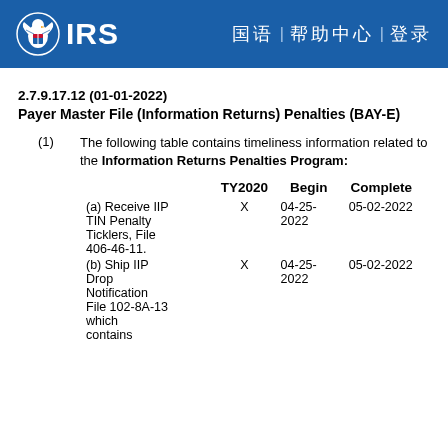IRS — Header bar with logo and navigation
2.7.9.17.12 (01-01-2022)
Payer Master File (Information Returns) Penalties (BAY-E)
(1) The following table contains timeliness information related to the Information Returns Penalties Program:
|  | TY2020 | Begin | Complete |
| --- | --- | --- | --- |
| (a) Receive IIP TIN Penalty Ticklers, File 406-46-11. | X | 04-25-2022 | 05-02-2022 |
| (b) Ship IIP Drop Notification File 102-8A-13 which contains | X | 04-25-2022 | 05-02-2022 |